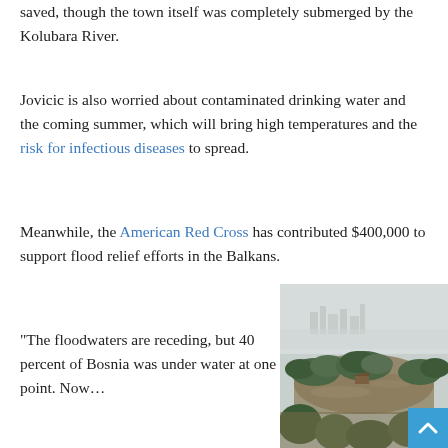saved, though the town itself was completely submerged by the Kolubara River.
Jovicic is also worried about contaminated drinking water and the coming summer, which will bring high temperatures and the risk for infectious diseases to spread.
Meanwhile, the American Red Cross has contributed $400,000 to support flood relief efforts in the Balkans.
“The floodwaters are receding, but 40 percent of Bosnia was under water at one point. Now…
[Figure (photo): Aerial or elevated view of a river winding through green tree-covered islands in misty, grey conditions, with flooded brownish water visible — scene from Balkan flood coverage.]